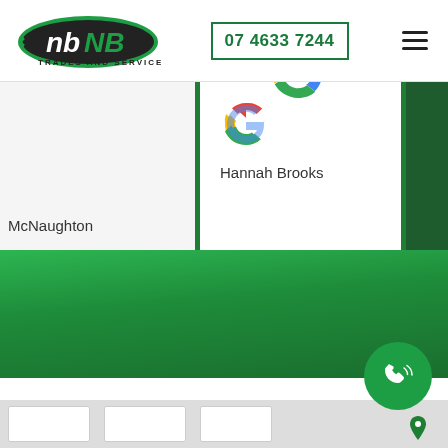[Figure (logo): NB Trades and Services logo - green oval with NB text and 'TRADES AND SERVICES' below]
07 4633 7244
[Figure (other): Hamburger menu icon (three horizontal lines)]
McNaughton
[Figure (logo): Google G logo in red, yellow, green, blue colors]
Hannah Brooks
[Figure (other): Green phone/call floating button with phone icon]
[Figure (other): Bottom map/document strip area]